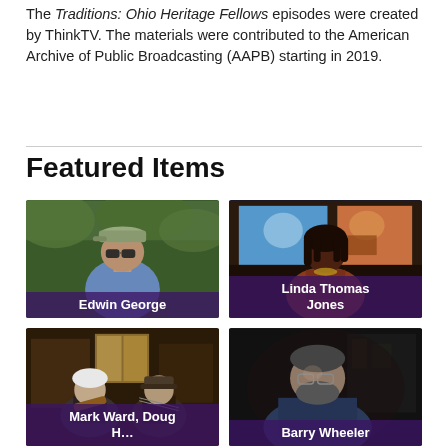The Traditions: Ohio Heritage Fellows episodes were created by ThinkTV. The materials were contributed to the American Archive of Public Broadcasting (AAPB) starting in 2019.
Featured Items
[Figure (photo): Video thumbnail showing a man wearing a cap and sunglasses outdoors (Edwin George), with purple label bar at bottom.]
[Figure (photo): Video thumbnail showing a woman in front of colorful paintings (Linda Thomas Jones), with dark label bar at bottom.]
[Figure (photo): Video thumbnail showing two men with musical instruments in an interior setting (Mark Ward, Doug ...), with dark label bar at bottom.]
[Figure (photo): Video thumbnail showing a man with glasses in a dark setting (Barry Wheeler), with dark label bar at bottom.]